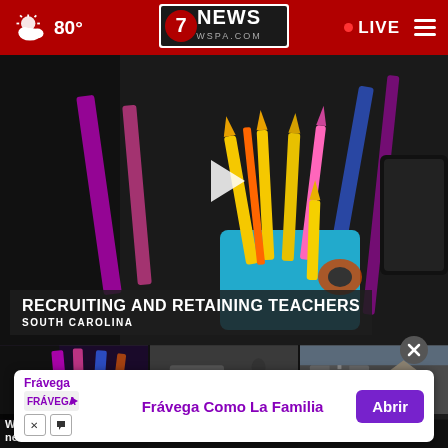80° | 7NEWS WSPA.COM | LIVE
[Figure (screenshot): Main video thumbnail showing pencil cup with colored pencils on a classroom desk, with a translucent lower-third overlay reading RECRUITING AND RETAINING TEACHERS / SOUTH CAROLINA and a play button]
RECRUITING AND RETAINING TEACHERS
SOUTH CAROLINA
[Figure (screenshot): Thumbnail 1: colorful pencils/markers close-up with play button and caption 'What to expect from new s...']
[Figure (screenshot): Thumbnail 2: street scene with emergency vehicles and play button with caption 'Town of Duncan ho...s...']
[Figure (screenshot): Thumbnail 3: partial view of building/church exterior with caption '2 char... fatal s...']
What to expect from new s...
Town of Duncan ho...s
2 char... fatal s...
[Figure (screenshot): Advertisement banner: Frávega Como La Familia with Abrir button]
Frávega
Frávega Como La Familia
Abrir